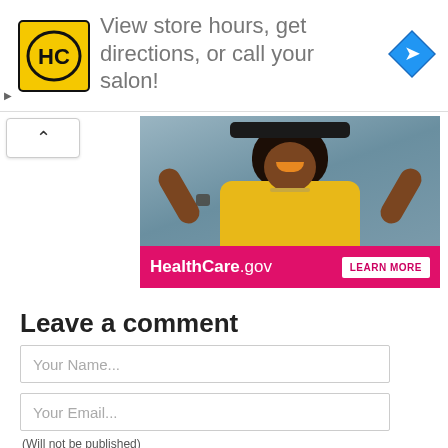[Figure (screenshot): Advertisement banner for Hair Club (HC) with yellow logo, text 'View store hours, get directions, or call your salon!' and a blue directions icon on the right]
[Figure (screenshot): HealthCare.gov advertisement showing a young woman in a yellow shirt holding a skateboard above her head, with a pink banner showing 'HealthCare.gov LEARN MORE']
Leave a comment
Your Name...
Your Email...
(Will not be published)